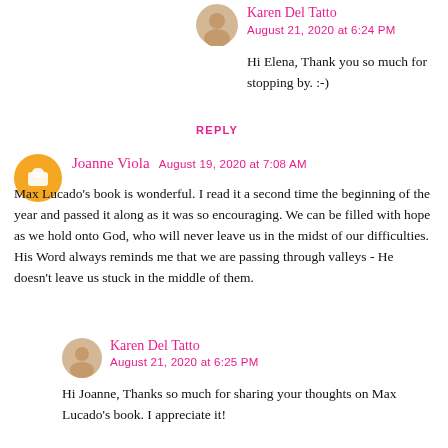Karen Del Tatto
August 21, 2020 at 6:24 PM
Hi Elena, Thank you so much for stopping by. :-)
REPLY
Joanne Viola  August 19, 2020 at 7:08 AM
Max Lucado's book is wonderful. I read it a second time the beginning of the year and passed it along as it was so encouraging. We can be filled with hope as we hold onto God, who will never leave us in the midst of our difficulties. His Word always reminds me that we are passing through valleys - He doesn't leave us stuck in the middle of them.
Karen Del Tatto
August 21, 2020 at 6:25 PM
Hi Joanne, Thanks so much for sharing your thoughts on Max Lucado's book. I appreciate it!